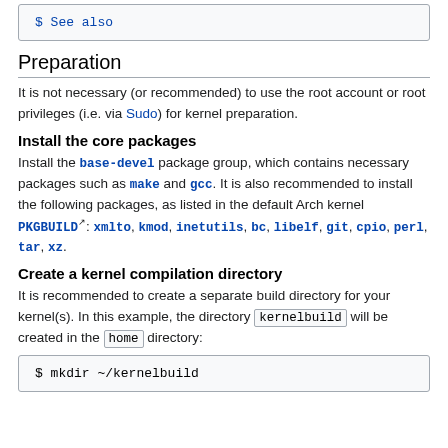$ See also
Preparation
It is not necessary (or recommended) to use the root account or root privileges (i.e. via Sudo) for kernel preparation.
Install the core packages
Install the base-devel package group, which contains necessary packages such as make and gcc. It is also recommended to install the following packages, as listed in the default Arch kernel PKGBUILD: xmlto, kmod, inetutils, bc, libelf, git, cpio, perl, tar, xz.
Create a kernel compilation directory
It is recommended to create a separate build directory for your kernel(s). In this example, the directory kernelbuild will be created in the home directory:
$ mkdir ~/kernelbuild